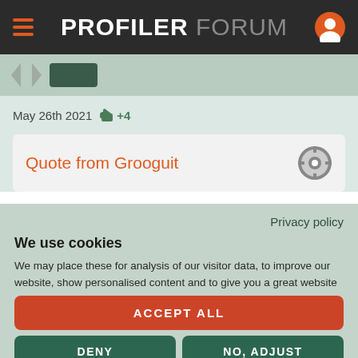PROFILER FORUM
May 26th 2021  +4
Quote from Grooguit
Privacy policy
We use cookies
We may place these for analysis of our visitor data, to improve our website, show personalised content and to give you a great website experience. For more information about the cookies we use open the settings.
ACCEPT ALL
DENY
NO, ADJUST